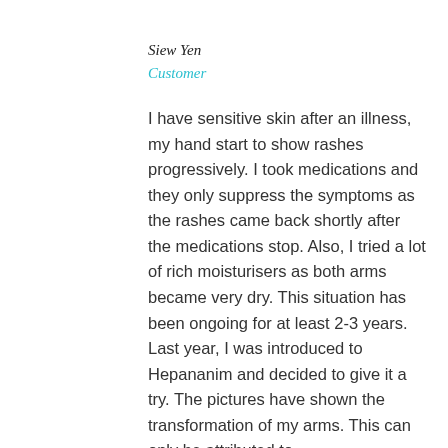Siew Yen
Customer
I have sensitive skin after an illness, my hand start to show rashes progressively. I took medications and they only suppress the symptoms as the rashes came back shortly after the medications stop. Also, I tried a lot of rich moisturisers as both arms became very dry. This situation has been ongoing for at least 2-3 years. Last year, I was introduced to Hepananim and decided to give it a try. The pictures have shown the transformation of my arms. This can only be attributed to